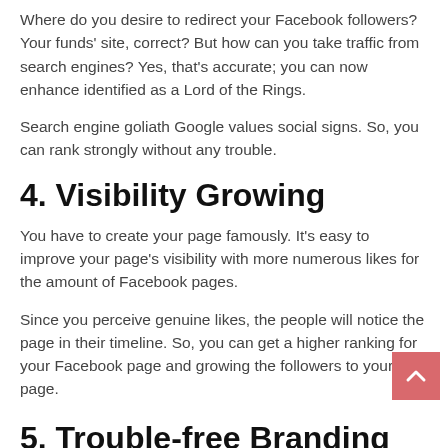Where do you desire to redirect your Facebook followers? Your funds' site, correct? But how can you take traffic from search engines? Yes, that's accurate; you can now enhance identified as a Lord of the Rings.
Search engine goliath Google values social signs. So, you can rank strongly without any trouble.
4. Visibility Growing
You have to create your page famously. It's easy to improve your page's visibility with more numerous likes for the amount of Facebook pages.
Since you perceive genuine likes, the people will notice the page in their timeline. So, you can get a higher ranking for your Facebook page and growing the followers to your page.
5. Trouble-free Branding
Branding implies pulling visitants or capturing the concentration of the audience. Anyone who has just